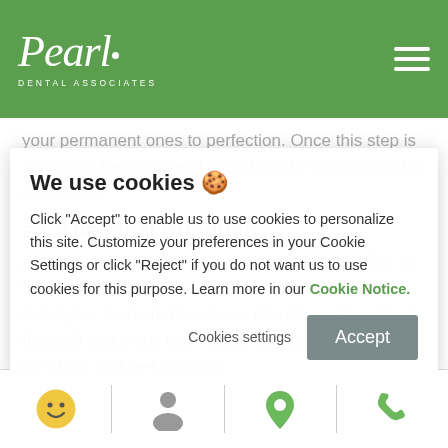Pearl Dental Associates
your permanent ones to perfection. Once this step is complete, they will send them back to your dentist for placement.
#4. The Final Bonding
At this point, you will return to your dentist's office for... temporary set, your dental team will carefully bond your permanent veneers into place. From there, they will make any last-minute changes to ensure they look and feel fantastic.
We use cookies 🍪

Click "Accept" to enable us to use cookies to personalize this site. Customize your preferences in your Cookie Settings or click "Reject" if you do not want us to use cookies for this purpose. Learn more in our Cookie Notice.

Cookies settings     Accept